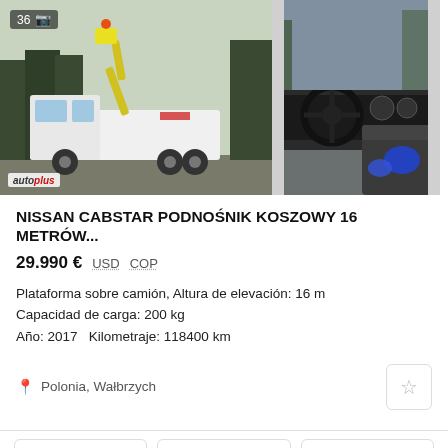[Figure (photo): Two vehicle photos side by side: left shows a white Nissan Cabstar truck with aerial work platform/bucket lift outdoors, with 'auto plus' badge at bottom-left and photo count badge '36' top-left; right shows the truck interior/dashboard view]
NISSAN CABSTAR PODNOŚNIK KOSZOWY 16 METRÓW...
29.990 €  USD  COP
Plataforma sobre camión, Altura de elevación: 16 m
Capacidad de carga: 200 kg
Año: 2017  Kilometraje: 118400 km
Polonia, Wałbrzych